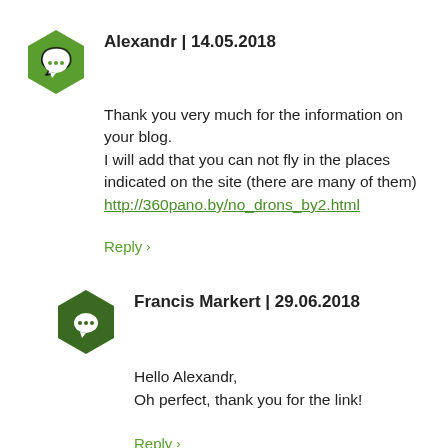[Figure (illustration): Green hexagon avatar with white speech bubble icon]
Alexandr | 14.05.2018
Thank you very much for the information on your blog.
I will add that you can not fly in the places indicated on the site (there are many of them)
http://360pano.by/no_drons_by2.html
Reply ›
[Figure (illustration): Dark green hexagon avatar with white speech bubble icon]
Francis Markert | 29.06.2018
Hello Alexandr,
Oh perfect, thank you for the link!
Reply ›